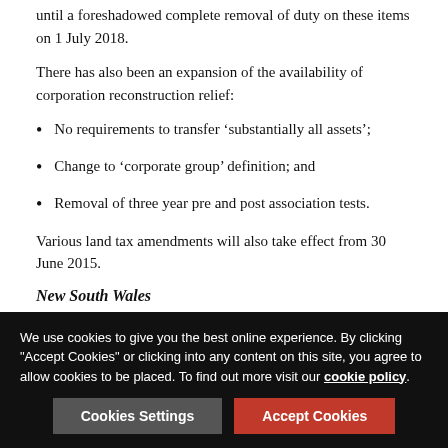until a foreshadowed complete removal of duty on these items on 1 July 2018.
There has also been an expansion of the availability of corporation reconstruction relief:
No requirements to transfer ‘substantially all assets’;
Change to ‘corporate group’ definition; and
Removal of three year pre and post association tests.
Various land tax amendments will also take effect from 30 June 2015.
New South Wales
No major changes to stamp duty for 2015-2016. However, the Government affirmed its commitment to abolish stamp duty
We use cookies to give you the best online experience. By clicking "Accept Cookies" or clicking into any content on this site, you agree to allow cookies to be placed. To find out more visit our cookie policy.